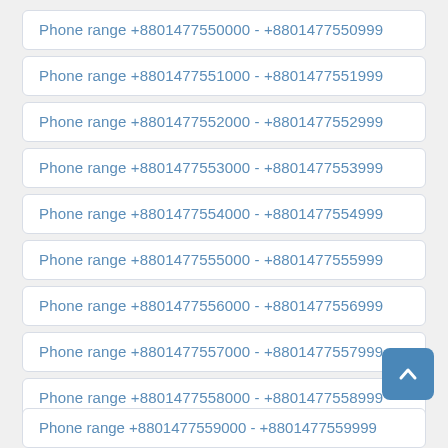Phone range +8801477550000 - +8801477550999
Phone range +8801477551000 - +8801477551999
Phone range +8801477552000 - +8801477552999
Phone range +8801477553000 - +8801477553999
Phone range +8801477554000 - +8801477554999
Phone range +8801477555000 - +8801477555999
Phone range +8801477556000 - +8801477556999
Phone range +8801477557000 - +8801477557999
Phone range +8801477558000 - +8801477558999
Phone range +8801477559000 - +8801477559999